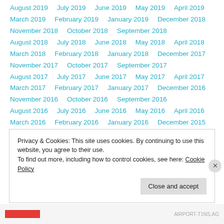August 2019   July 2019   June 2019   May 2019   April 2019
March 2019   February 2019   January 2019   December 2018
November 2018   October 2018   September 2018
August 2018   July 2018   June 2018   May 2018   April 2018
March 2018   February 2018   January 2018   December 2017
November 2017   October 2017   September 2017
August 2017   July 2017   June 2017   May 2017   April 2017
March 2017   February 2017   January 2017   December 2016
November 2016   October 2016   September 2016
August 2016   July 2016   June 2016   May 2016   April 2016
March 2016   February 2016   January 2016   December 2015
Privacy & Cookies: This site uses cookies. By continuing to use this website, you agree to their use.
To find out more, including how to control cookies, see here: Cookie Policy
Close and accept
AIRPORT-T1NS.AG